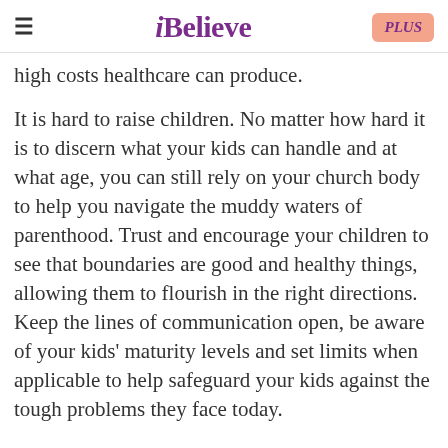iBelieve — PLUS
high costs healthcare can produce.
It is hard to raise children. No matter how hard it is to discern what your kids can handle and at what age, you can still rely on your church body to help you navigate the muddy waters of parenthood. Trust and encourage your children to see that boundaries are good and healthy things, allowing them to flourish in the right directions. Keep the lines of communication open, be aware of your kids' maturity levels and set limits when applicable to help safeguard your kids against the tough problems they face today.
[Figure (photo): Author photo thumbnail at bottom of article]